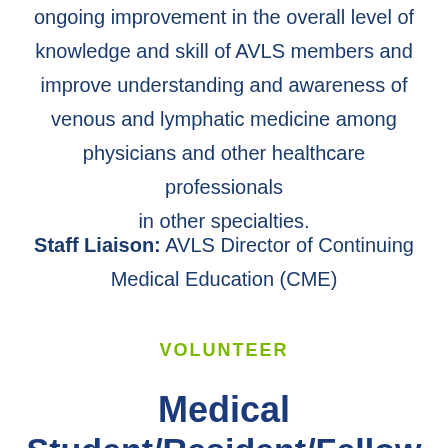ongoing improvement in the overall level of knowledge and skill of AVLS members and improve understanding and awareness of venous and lymphatic medicine among physicians and other healthcare professionals in other specialties.
Staff Liaison: AVLS Director of Continuing Medical Education (CME)
VOLUNTEER
Medical Student/Resident/Fellow